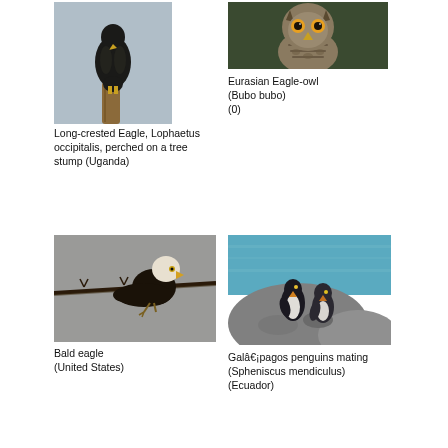[Figure (photo): Long-crested Eagle perched on a tree stump, dark bird on wooden post against light blue-grey sky]
Long-crested Eagle, Lophaetus occipitalis, perched on a tree stump (Uganda)
[Figure (photo): Eurasian Eagle-owl (Bubo bubo), grey and brown speckled owl facing camera]
Eurasian Eagle-owl (Bubo bubo) (0)
[Figure (photo): Bald eagle perched on a barbed wire branch against grey sky, United States]
Bald eagle (United States)
[Figure (photo): Galapagos penguins mating on rocky surface with blue ocean water in background, Ecuador]
Galâ€¡pagos penguins mating (Spheniscus mendiculus) (Ecuador)